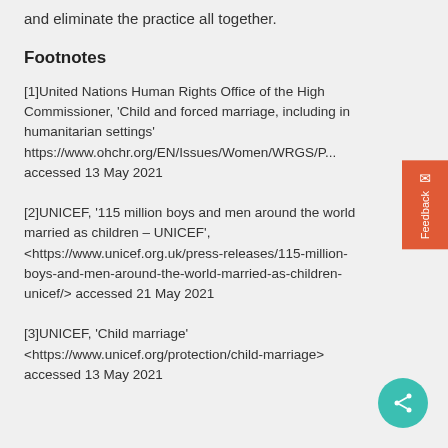and eliminate the practice all together.
Footnotes
[1]United Nations Human Rights Office of the High Commissioner, 'Child and forced marriage, including in humanitarian settings' https://www.ohchr.org/EN/Issues/Women/WRGS/P... accessed 13 May 2021
[2]UNICEF, '115 million boys and men around the world married as children – UNICEF', <https://www.unicef.org.uk/press-releases/115-million-boys-and-men-around-the-world-married-as-children-unicef/> accessed 21 May 2021
[3]UNICEF, 'Child marriage' <https://www.unicef.org/protection/child-marriage> accessed 13 May 2021